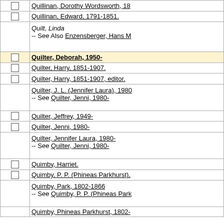| select | entry |
| --- | --- |
| ☐ | Quillinan, Dorothy Wordsworth, 18… |
| ☐ | Quillinan, Edward, 1791-1851. |
|  | Quilt, Linda
-- See Also Enzensberger, Hans M… |
| ☐ | Quilter, Deborah, 1950- |
| ☐ | Quilter, Harry, 1851-1907. |
| ☐ | Quilter, Harry, 1851-1907, editor. |
|  | Quilter, J. L. (Jennifer Laura), 1980…
-- See Quilter, Jenni, 1980- |
| ☐ | Quilter, Jeffrey, 1949- |
| ☐ | Quilter, Jenni, 1980- |
|  | Quilter, Jennifer Laura, 1980-
-- See Quilter, Jenni, 1980- |
| ☐ | Quimby, Harriet. |
| ☐ | Quimby, P. P. (Phineas Parkhurst),… |
|  | Quimby, Park, 1802-1866
-- See Quimby, P. P. (Phineas Park… |
|  | Quimby, Phineas Parkhurst, 1802-… |